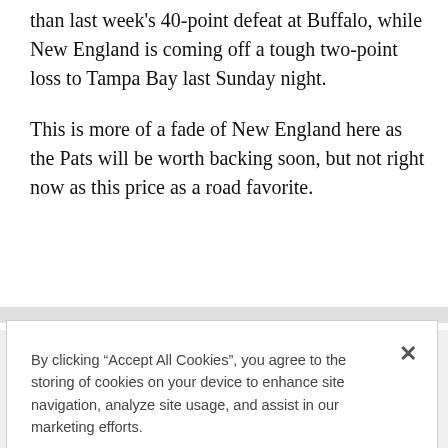than last week's 40-point defeat at Buffalo, while New England is coming off a tough two-point loss to Tampa Bay last Sunday night.
This is more of a fade of New England here as the Pats will be worth backing soon, but not right now as this price as a road favorite.
By clicking “Accept All Cookies”, you agree to the storing of cookies on your device to enhance site navigation, analyze site usage, and assist in our marketing efforts.
Cookies Settings
Reject All
Accept All Cookies